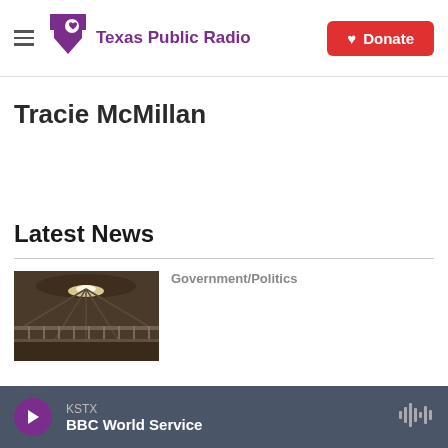Texas Public Radio — Donate
Tracie McMillan
Latest News
[Figure (photo): Thumbnail image showing architectural interior with ceiling and railing, partially visible]
Government/Politics
KSTX — BBC World Service (audio player bar)